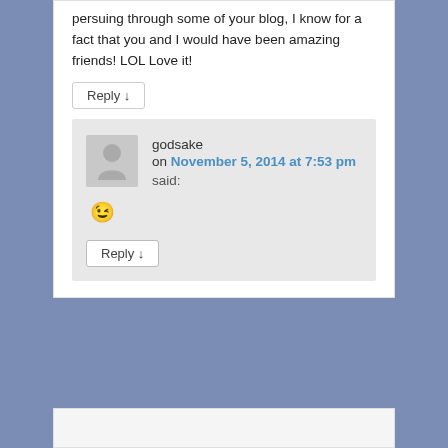persuing through some of your blog, I know for a fact that you and I would have been amazing friends! LOL Love it!
Reply ↓
godsake
on November 5, 2014 at 7:53 pm said:
😉
Reply ↓